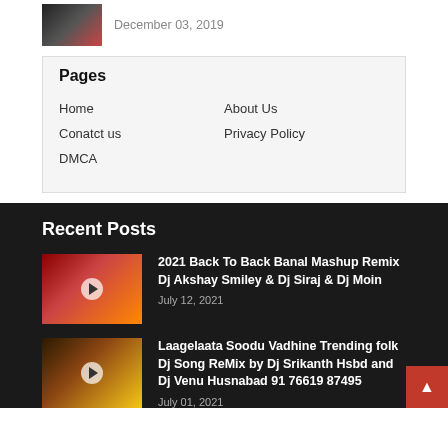December 03, 2019
Pages
Home
About Us
Conatct us
Privacy Policy
DMCA
Recent Posts
2021 Back To Back Banal Mashup Remix Dj Akshay Smiley & Dj Siraj & Dj Moin
July 12, 2021
Laagelaata Soodu Vadhine Trending folk Dj Song ReMix by Dj Srikanth Hsbd and Dj Venu Husnabad 91 76619 87495
July 01, 2021